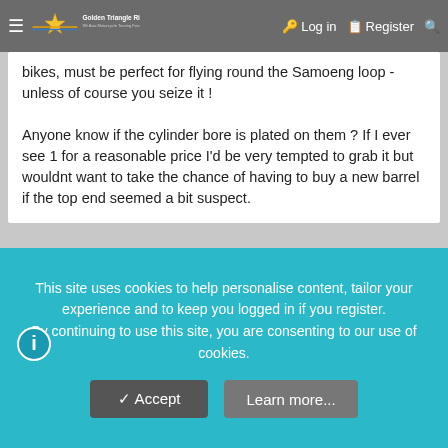Golden Triangle Riders — SE Asia Motorcycle Touring Forums | Log in | Register
I had arrived in Pattaya somewhere, plastic little bikes, must be perfect for flying round the Samoeng loop - unless of course you seize it ! Anyone know if the cylinder bore is plated on them ? If I ever see 1 for a reasonable price I'd be very tempted to grab it but wouldnt want to take the chance of having to buy a new barrel if the top end seemed a bit suspect.
BignTall
Ol'Timer
Oct 3, 2006   #8
This site uses cookies to help personalise content, tailor your experience and to keep you logged in if you register.
By continuing to use this site, you are consenting to our use of cookies.